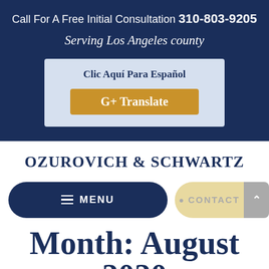Call For A Free Initial Consultation 310-803-9205
Serving Los Angeles county
Clic Aquí Para Español
G+ Translate
OZUROVICH & SCHWARTZ
MENU
CONTACT
Month: August 2020